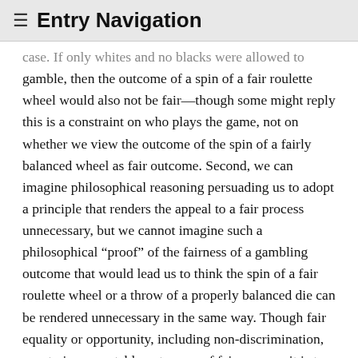≡ Entry Navigation
case. If only whites and no blacks were allowed to gamble, then the outcome of a spin of a fair roulette wheel would also not be fair—though some might reply this is a constraint on who plays the game, not on whether we view the outcome of the spin of a fairly balanced wheel as fair outcome. Second, we can imagine philosophical reasoning persuading us to adopt a principle that renders the appeal to a fair process unnecessary, but we cannot imagine such a philosophical “proof” of the fairness of a gambling outcome that would lead us to think the spin of a fair roulette wheel or a throw of a properly balanced die can be rendered unnecessary in the same way. Though fair equality or opportunity, including non-discrimination, constrains acceptable outcomes of fair process, it is too general an idea to settle what counts as an acceptable outcome. That requires agreement, in general by a range of stakeholders, on reasons for thinking an allocation is an acceptable way to meet needs fairly and so protect opportunity for those involved. The point behind insisting on what we call the “relevance” condition is to search for